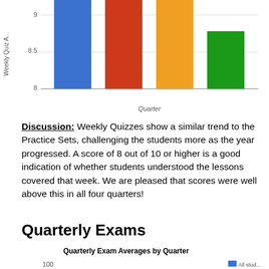[Figure (bar-chart): ]
Discussion: Weekly Quizzes show a similar trend to the Practice Sets, challenging the students more as the year progressed. A score of 8 out of 10 or higher is a good indication of whether students understood the lessons covered that week. We are pleased that scores were well above this in all four quarters!
Quarterly Exams
[Figure (bar-chart): Quarterly Exam Averages by Quarter]